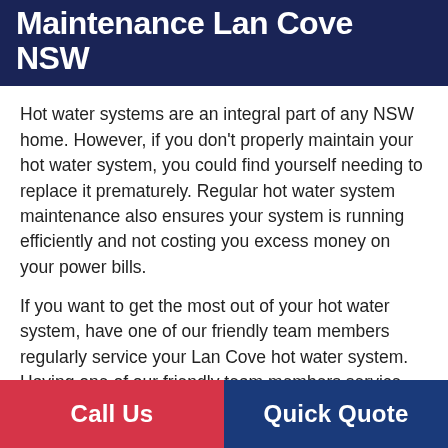Maintenance Lan Cove NSW
Hot water systems are an integral part of any NSW home. However, if you don’t properly maintain your hot water system, you could find yourself needing to replace it prematurely. Regular hot water system maintenance also ensures your system is running efficiently and not costing you excess money on your power bills.
If you want to get the most out of your hot water system, have one of our friendly team members regularly service your Lan Cove hot water system. Having one of our friendly team members service your unit every six to fifteen months will drastically improve the life of your unit.
We recommend having maintenance performed on your unit every six months, as that’s how often your pressure
Call Us   Quick Quote